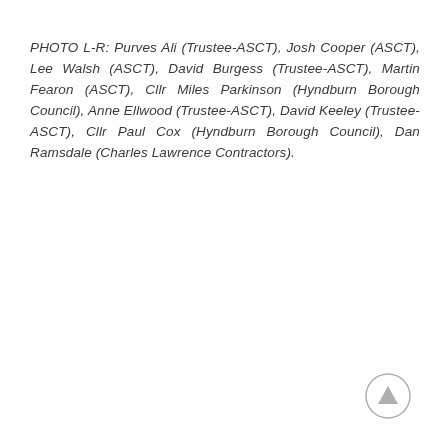PHOTO L-R: Purves Ali (Trustee-ASCT), Josh Cooper (ASCT), Lee Walsh (ASCT), David Burgess (Trustee-ASCT), Martin Fearon (ASCT), Cllr Miles Parkinson (Hyndburn Borough Council), Anne Ellwood (Trustee-ASCT), David Keeley (Trustee-ASCT), Cllr Paul Cox (Hyndburn Borough Council), Dan Ramsdale (Charles Lawrence Contractors).